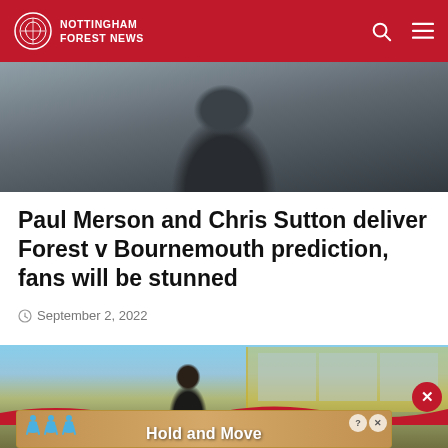Nottingham Forest News
[Figure (photo): Person in dark jacket with raised fist, partial upper body shot]
Paul Merson and Chris Sutton deliver Forest v Bournemouth prediction, fans will be stunned
September 2, 2022
[Figure (photo): Football player standing outdoors in front of a yellow building, bright sky]
[Figure (infographic): Advertisement banner showing 'Hold and Move' with blue human figures icons]